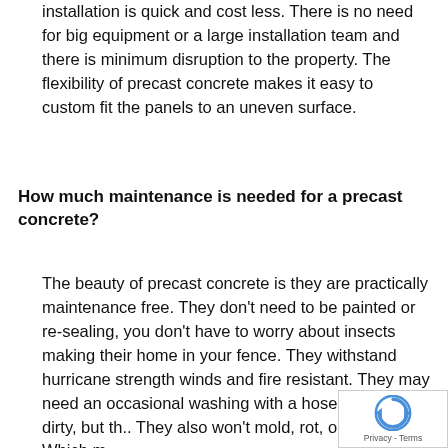installation is quick and cost less. There is no need for big equipment or a large installation team and there is minimum disruption to the property. The flexibility of precast concrete makes it easy to custom fit the panels to an uneven surface.
How much maintenance is needed for a precast concrete?
The beauty of precast concrete is they are practically maintenance free. They don't need to be painted or re-sealing, you don't have to worry about insects making their home in your fence. They withstand hurricane strength winds and fire resistant. They may need an occasional washing with a hose if they get dirty, but th... They also won't mold, rot, or warp. Which m...